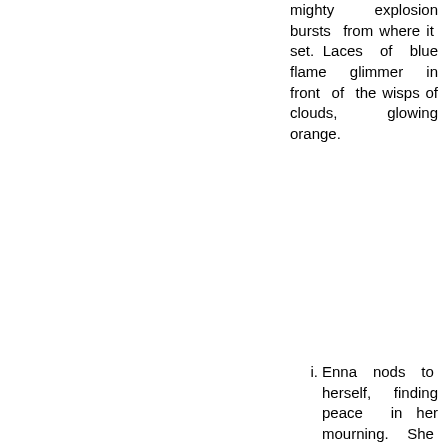mighty explosion bursts from where it set. Laces of blue flame glimmer in front of the wisps of clouds, glowing orange.
i. Enna nods to herself, finding peace in her mourning. She has an inner monologue, making an oath to the memory of Syne and what he stood for.